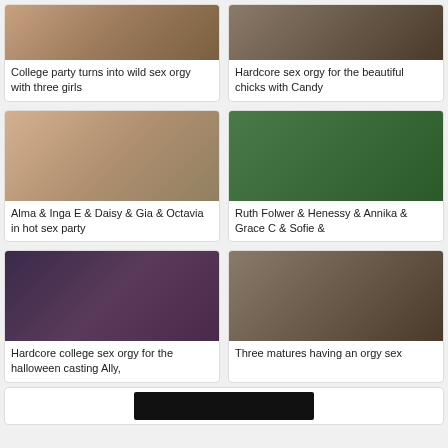[Figure (photo): Video thumbnail - college party scene]
College party turns into wild sex orgy with three girls
[Figure (photo): Video thumbnail - hardcore sex orgy scene]
Hardcore sex orgy for the beautiful chicks with Candy
[Figure (photo): Video thumbnail - blonde and redhead]
Alma & Inga E & Daisy & Gia & Octavia in hot sex party
[Figure (photo): Video thumbnail - green body paint scene]
Ruth Folwer & Henessy & Annika & Grace C & Sofie &
[Figure (photo): Video thumbnail - halloween college party]
Hardcore college sex orgy for the halloween casting Ally,
[Figure (photo): Video thumbnail - three mature women]
Three matures having an orgy sex
[Figure (photo): Video thumbnail - partially visible at bottom]